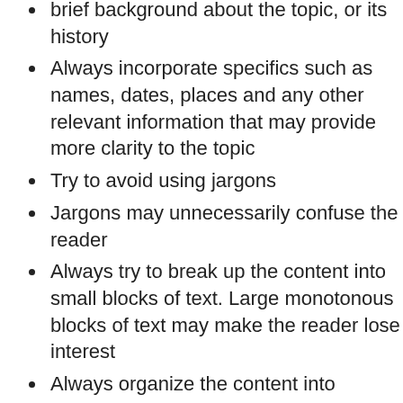brief background about the topic, or its history
Always incorporate specifics such as names, dates, places and any other relevant information that may provide more clarity to the topic
Try to avoid using jargons
Jargons may unnecessarily confuse the reader
Always try to break up the content into small blocks of text. Large monotonous blocks of text may make the reader lose interest
Always organize the content into headings and subheadings
Try to present important information in bulleted points
Make it a habit to end the essay with a